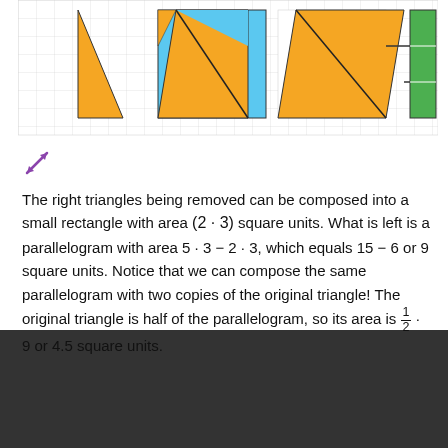[Figure (illustration): Three-panel geometric diagram on grid showing: (1) an orange right triangle, (2) a blue rectangle with orange triangles rearranged inside showing decomposition, (3) an orange parallelogram with a small green rectangle on the right with arrows, illustrating how right triangles compose into a rectangle]
[Figure (illustration): Purple diagonal double-headed arrow expand icon]
The right triangles being removed can be composed into a small rectangle with area (2 · 3) square units. What is left is a parallelogram with area 5 · 3 − 2 · 3, which equals 15 − 6 or 9 square units. Notice that we can compose the same parallelogram with two copies of the original triangle! The original triangle is half of the parallelogram, so its area is 1/2 · 9 or 4.5 square units.